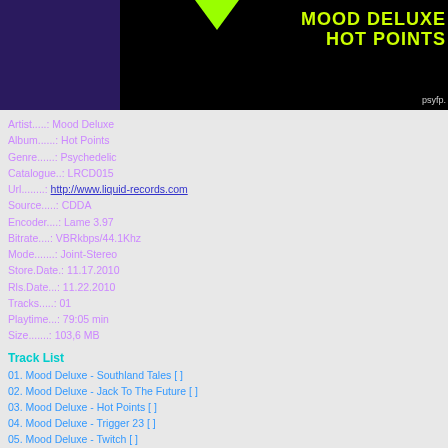[Figure (illustration): Album banner with dark background, purple rectangle on the left, green downward-pointing arrow in the center, and yellow-green text reading MOOD DELUXE HOT POINTS on the right, with psyfp. text at the bottom right]
Artist.....: Mood Deluxe
Album......: Hot Points
Genre......: Psychedelic
Catalogue..: LRCD015
Url........: http://www.liquid-records.com
Source.....: CDDA
Encoder....: Lame 3.97
Bitrate....: VBRkbps/44.1Khz
Mode.......: Joint-Stereo
Store.Date.: 11.17.2010
Rls.Date...: 11.22.2010
Tracks.....: 01
Playtime...: 79:05 min
Size.......: 103,6 MB
Track List
01. Mood Deluxe - Southland Tales [ ]
02. Mood Deluxe - Jack To The Future [ ]
03. Mood Deluxe - Hot Points [ ]
04. Mood Deluxe - Trigger 23 [ ]
05. Mood Deluxe - Twitch [ ]
06. Mood Deluxe - Night Club [ ]
07. Mood Deluxe - Mind Pyramid [ ]
08. Mood Deluxe - Kingdom Come [ ]
09. Mood Deluxe - Massive Dynamic [ ]
10. Mood Deluxe - Function For Your Tongue [ ]
11. Mood Deluxe - Shadow Law [ ]
Release Notes